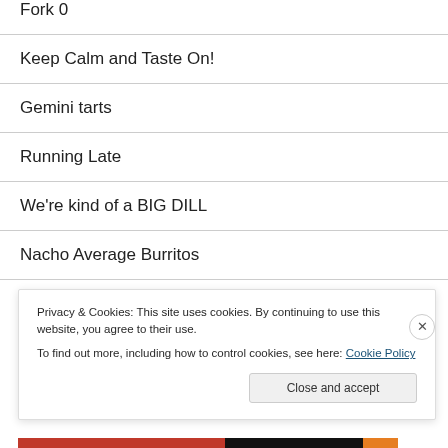Fork 0
Keep Calm and Taste On!
Gemini tarts
Running Late
We're kind of a BIG DILL
Nacho Average Burritos
S...
Privacy & Cookies: This site uses cookies. By continuing to use this website, you agree to their use.
To find out more, including how to control cookies, see here: Cookie Policy
[Close and accept]